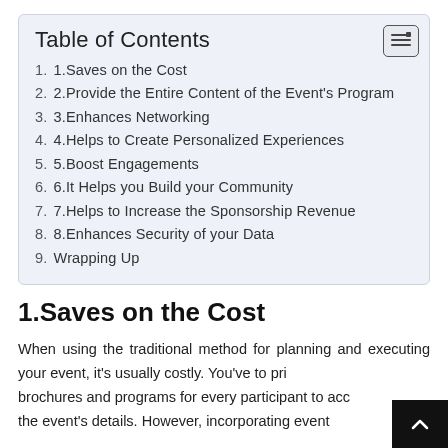Table of Contents
1. 1.Saves on the Cost
2. 2.Provide the Entire Content of the Event's Program
3. 3.Enhances Networking
4. 4.Helps to Create Personalized Experiences
5. 5.Boost Engagements
6. 6.It Helps you Build your Community
7. 7.Helps to Increase the Sponsorship Revenue
8. 8.Enhances Security of your Data
9. Wrapping Up
1.Saves on the Cost
When using the traditional method for planning and executing your event, it's usually costly. You've to print brochures and programs for every participant to access the event's details. However, incorporating event mobile…